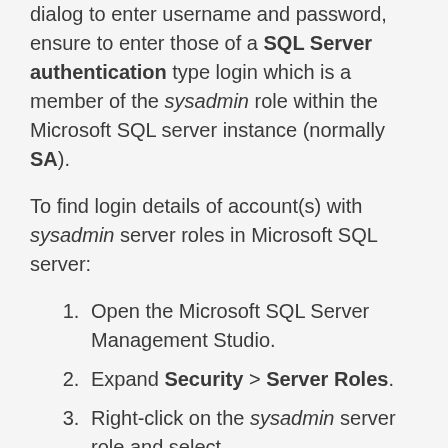dialog to enter username and password, ensure to enter those of a SQL Server authentication type login which is a member of the sysadmin role within the Microsoft SQL server instance (normally SA).
To find login details of account(s) with sysadmin server roles in Microsoft SQL server:
Open the Microsoft SQL Server Management Studio.
Expand Security > Server Roles.
Right-click on the sysadmin server role and select